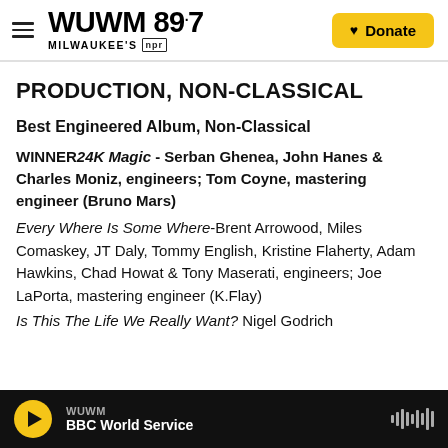WUWM 89.7 Milwaukee's NPR — Donate
PRODUCTION, NON-CLASSICAL
Best Engineered Album, Non-Classical
WINNER 24K Magic - Serban Ghenea, John Hanes & Charles Moniz, engineers; Tom Coyne, mastering engineer (Bruno Mars)
Every Where Is Some Where-Brent Arrowood, Miles Comaskey, JT Daly, Tommy English, Kristine Flaherty, Adam Hawkins, Chad Howat & Tony Maserati, engineers; Joe LaPorta, mastering engineer (K.Flay)
Is This The Life We Really Want? Nigel Godrich
WUWM — BBC World Service